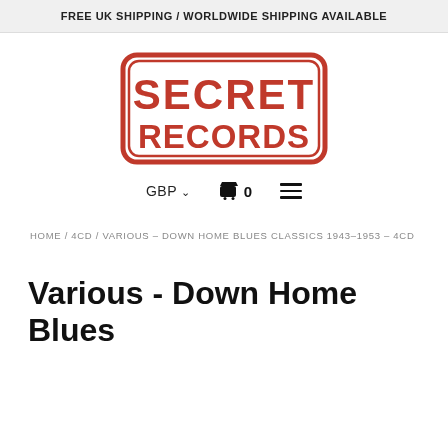FREE UK SHIPPING / WORLDWIDE SHIPPING AVAILABLE
[Figure (logo): Secret Records logo — red stamp-style rectangle with bold stencil text reading SECRET RECORDS]
GBP ∨  🛒 0  ≡
HOME / 4CD / VARIOUS - DOWN HOME BLUES CLASSICS 1943-1953 - 4CD
Various - Down Home Blues